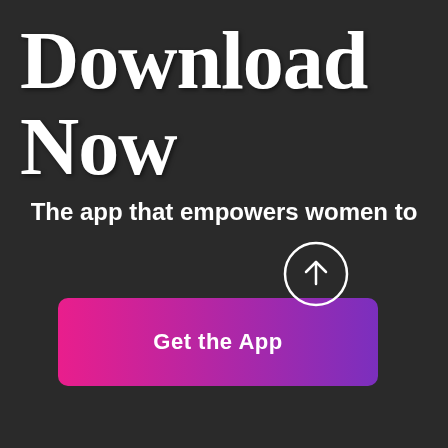Download Now
The app that empowers women to challenge the world!
[Figure (other): A gradient button (pink to purple) labeled 'Get the App' with a circular arrow icon to the right]